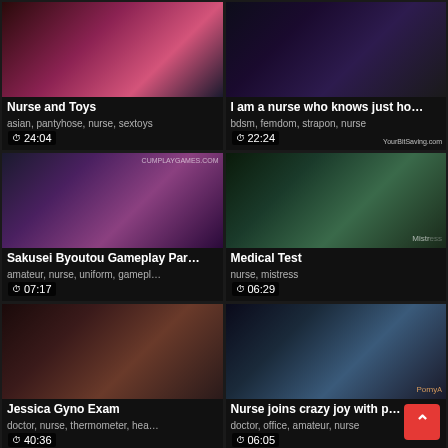[Figure (screenshot): Video thumbnail grid showing 6 video cards in 2 columns, 3 rows. Each card has a thumbnail image with duration overlay and title/tags below.]
Nurse and Toys
asian, pantyhose, nurse, sextoys
I am a nurse who knows just ho...
bdsm, femdom, strapon, nurse
Sakusei Byoutou Gameplay Par...
amateur, nurse, uniform, gamepl...
Medical Test
nurse, mistress
Jessica Gyno Exam
doctor, nurse, thermometer, hea...
Nurse joins crazy joy with p...
doctor, office, amateur, nurse